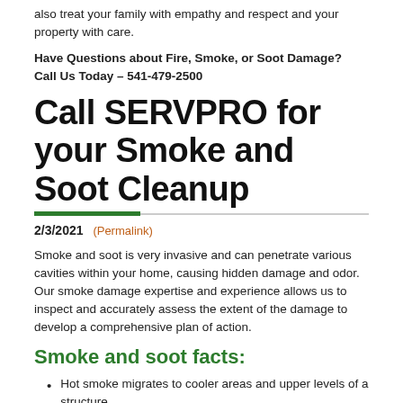also treat your family with empathy and respect and your property with care.
Have Questions about Fire, Smoke, or Soot Damage? Call Us Today – 541-479-2500
Call SERVPRO for your Smoke and Soot Cleanup
2/3/2021 (Permalink)
Smoke and soot is very invasive and can penetrate various cavities within your home, causing hidden damage and odor. Our smoke damage expertise and experience allows us to inspect and accurately assess the extent of the damage to develop a comprehensive plan of action.
Smoke and soot facts:
Hot smoke migrates to cooler areas and upper levels of a structure.